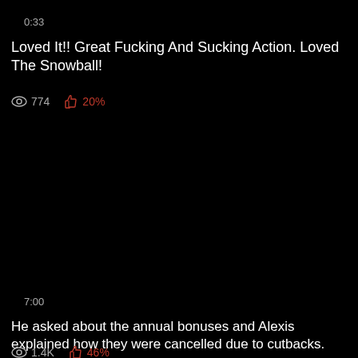0:33
Loved It!! Great Fucking And Sucking Action. Loved The Snowball!
774   20%
7:00
He asked about the annual bonuses and Alexis explained how they were cancelled due to cutbacks.
1.4K   46%